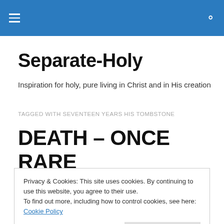Separate-Holy [navigation header with hamburger menu and search icon]
Separate-Holy
Inspiration for holy, pure living in Christ and in His creation
TAGGED WITH SEVENTEEN YEARS HIS TOMBSTONE
DEATH – ONCE RARE
Privacy & Cookies: This site uses cookies. By continuing to use this website, you agree to their use.
To find out more, including how to control cookies, see here: Cookie Policy
Close and accept